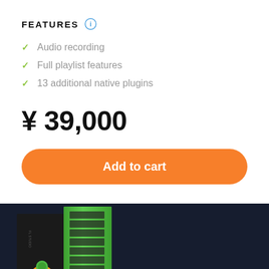FEATURES
Audio recording
Full playlist features
13 additional native plugins
¥ 39,000
Add to cart
[Figure (photo): FL Studio software product box with green spine and orange/yellow fruit logo on black background, displayed against dark navy background]